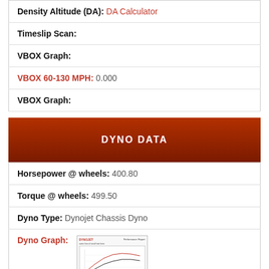| Density Altitude (DA): | DA Calculator |
| Timeslip Scan: |  |
| VBOX Graph: |  |
| VBOX 60-130 MPH: | 0.000 |
| VBOX Graph: |  |
DYNO DATA
| Horsepower @ wheels: | 400.80 |
| Torque @ wheels: | 499.50 |
| Dyno Type: | Dynojet Chassis Dyno |
| Dyno Graph: | [image] |